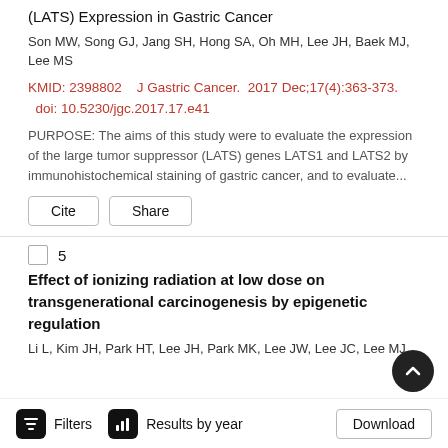(LATS) Expression in Gastric Cancer
Son MW, Song GJ, Jang SH, Hong SA, Oh MH, Lee JH, Baek MJ, Lee MS
KMID: 2398802    J Gastric Cancer.  2017 Dec;17(4):363-373.  doi: 10.5230/jgc.2017.17.e41
PURPOSE: The aims of this study were to evaluate the expression of the large tumor suppressor (LATS) genes LATS1 and LATS2 by immunohistochemical staining of gastric cancer, and to evaluate...
Cite  Share
5
Effect of ionizing radiation at low dose on transgenerational carcinogenesis by epigenetic regulation
Li L, Kim JH, Park HT, Lee JH, Park MK, Lee JW, Lee JC, Lee MJ
Filters    Results by year    Download